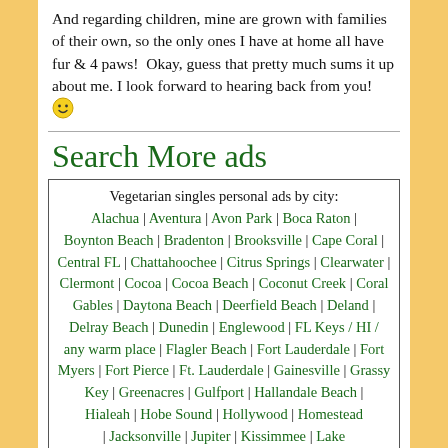And regarding children, mine are grown with families of their own, so the only ones I have at home all have fur & 4 paws!  Okay, guess that pretty much sums it up about me. I look forward to hearing back from you! 😊
Search More ads
Vegetarian singles personal ads by city: Alachua | Aventura | Avon Park | Boca Raton | Boynton Beach | Bradenton | Brooksville | Cape Coral | Central FL | Chattahoochee | Citrus Springs | Clearwater | Clermont | Cocoa | Cocoa Beach | Coconut Creek | Coral Gables | Daytona Beach | Deerfield Beach | Deland | Delray Beach | Dunedin | Englewood | FL Keys / HI / any warm place | Flagler Beach | Fort Lauderdale | Fort Myers | Fort Pierce | Ft. Lauderdale | Gainesville | Grassy Key | Greenacres | Gulfport | Hallandale Beach | Hialeah | Hobe Sound | Hollywood | Homestead | Jacksonville | Jupiter | Kissimmee | Lake...